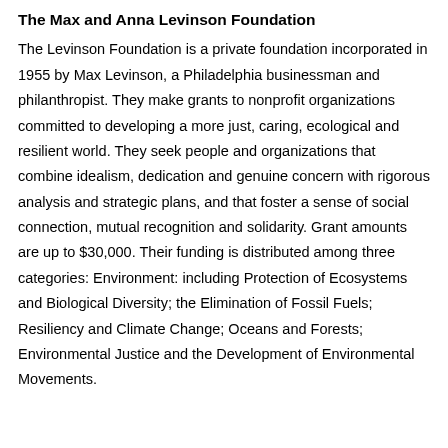The Max and Anna Levinson Foundation
The Levinson Foundation is a private foundation incorporated in 1955 by Max Levinson, a Philadelphia businessman and philanthropist. They make grants to nonprofit organizations committed to developing a more just, caring, ecological and resilient world. They seek people and organizations that combine idealism, dedication and genuine concern with rigorous analysis and strategic plans, and that foster a sense of social connection, mutual recognition and solidarity. Grant amounts are up to $30,000. Their funding is distributed among three categories: Environment: including Protection of Ecosystems and Biological Diversity; the Elimination of Fossil Fuels; Resiliency and Climate Change; Oceans and Forests; Environmental Justice and the Development of Environmental Movements.